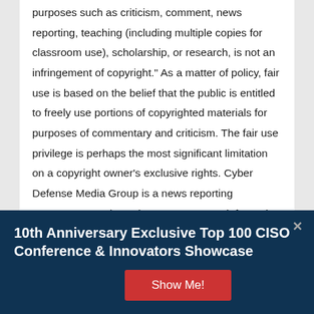purposes such as criticism, comment, news reporting, teaching (including multiple copies for classroom use), scholarship, or research, is not an infringement of copyright." As a matter of policy, fair use is based on the belief that the public is entitled to freely use portions of copyrighted materials for purposes of commentary and criticism. The fair use privilege is perhaps the most significant limitation on a copyright owner's exclusive rights. Cyber Defense Media Group is a news reporting company, reporting cyber news, events, information and much more at no charge at our website Cyber Defense Magazine. All images and reporting are done exclusively under the Fair Use of the US copyright act.
10th Anniversary Exclusive Top 100 CISO Conference & Innovators Showcase